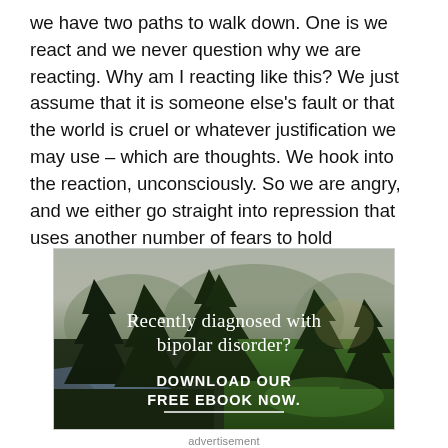we have two paths to walk down. One is we react and we never question why we are reacting. Why am I reacting like this? We just assume that it is someone else's fault or that the world is cruel or whatever justification we may use – which are thoughts. We hook into the reaction, unconsciously. So we are angry, and we either go straight into repression that uses another number of fears to hold
[Figure (photo): Advertisement banner showing a forest scene with trees, a river/stream, green grass, and misty mountains in the background. White text overlay reads 'Recently diagnosed with bipolar disorder?' and 'DOWNLOAD OUR FREE EBOOK NOW.' with a horizontal white line beneath.]
advertisement